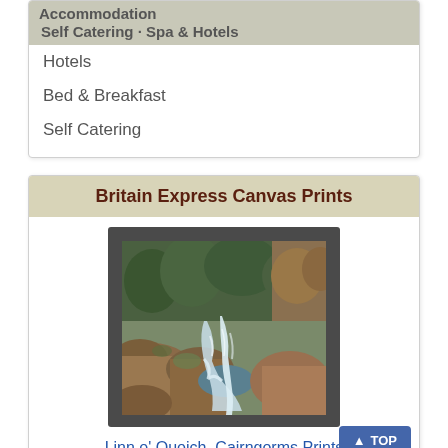Accommodation
Hotels
Bed & Breakfast
Self Catering
Britain Express Canvas Prints
[Figure (photo): Framed canvas print showing Linn o' Quoich waterfall in the Cairngorms, Scotland — a rushing stream flowing over and between large mossy rocks with autumn-coloured forest in the background.]
Linn o' Quoich, Cairngorms Prints